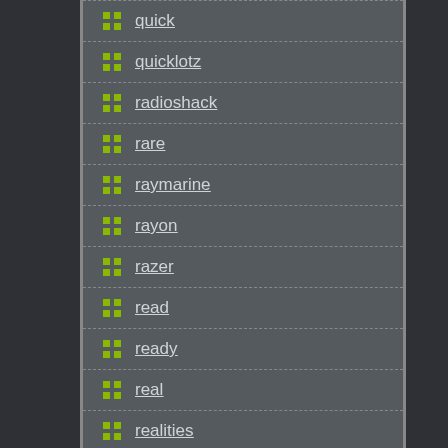quick
quicklotz
radioshack
rare
raymarine
rayon
razer
read
ready
real
realities